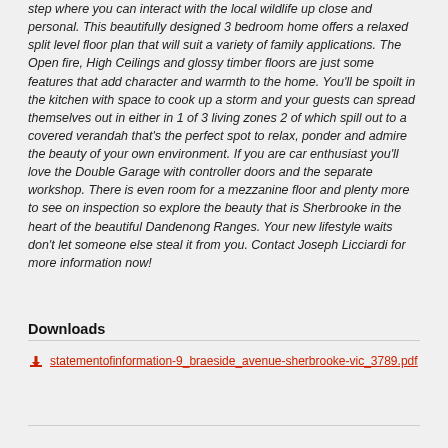step where you can interact with the local wildlife up close and personal. This beautifully designed 3 bedroom home offers a relaxed split level floor plan that will suit a variety of family applications. The Open fire, High Ceilings and glossy timber floors are just some features that add character and warmth to the home. You'll be spoilt in the kitchen with space to cook up a storm and your guests can spread themselves out in either in 1 of 3 living zones 2 of which spill out to a covered verandah that's the perfect spot to relax, ponder and admire the beauty of your own environment. If you are car enthusiast you'll love the Double Garage with controller doors and the separate workshop. There is even room for a mezzanine floor and plenty more to see on inspection so explore the beauty that is Sherbrooke in the heart of the beautiful Dandenong Ranges. Your new lifestyle waits don't let someone else steal it from you. Contact Joseph Licciardi for more information now!
Downloads
statementofinformation-9_braeside_avenue-sherbrooke-vic_3789.pdf